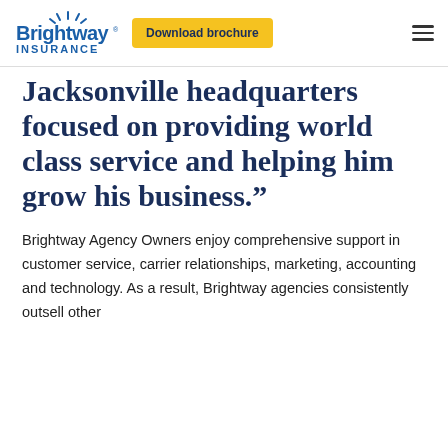Brightway Insurance | Download brochure
Jacksonville headquarters focused on providing world class service and helping him grow his business.”
Brightway Agency Owners enjoy comprehensive support in customer service, carrier relationships, marketing, accounting and technology. As a result, Brightway agencies consistently outsell other